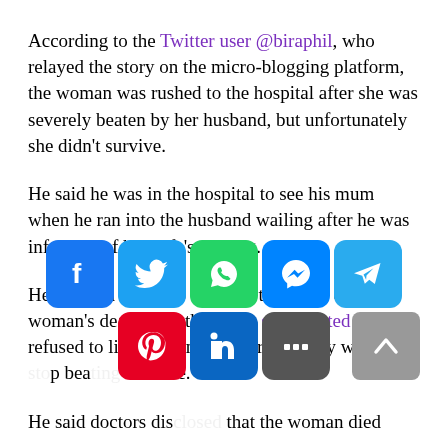According to the Twitter user @biraphil, who relayed the story on the micro-blogging platform, the woman was rushed to the hospital after she was severely beaten by her husband, but unfortunately she didn't survive.
He said he was in the hospital to see his mum when he ran into the husband wailing after he was informed of his wife's passing.
He claimed he got to know of the cause of the woman's death after the man's sister stated that he refused to listen when he was repeatedly warned to stop beating his wife.
He said doctors disclosed that the woman died
[Figure (other): Social media share buttons overlay: Facebook, Twitter, WhatsApp, Messenger, Telegram (top row); Pinterest, LinkedIn, More (bottom row). A scroll-to-top button is at the bottom right.]